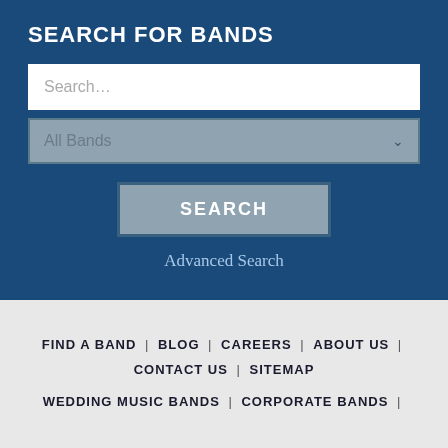SEARCH FOR BANDS
[Figure (screenshot): Search input field with placeholder text 'Search...']
[Figure (screenshot): Dropdown selector showing 'All Bands' with chevron icon]
[Figure (screenshot): Search button with label 'SEARCH']
Advanced Search
FIND A BAND | BLOG | CAREERS | ABOUT US | CONTACT US | SITEMAP
WEDDING MUSIC BANDS | CORPORATE BANDS |